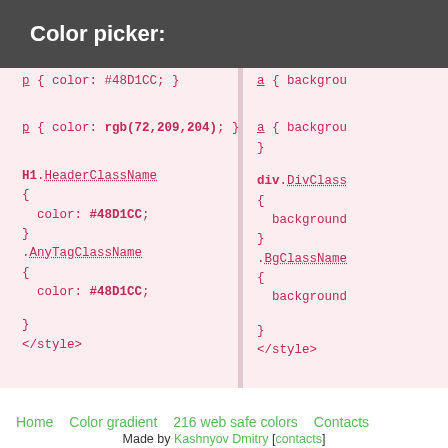Color picker:
p { color: #48D1CC; }

p { color: rgb(72,209,204); }

H1.HeaderClassName
{
  color: #48D1CC;
}
.AnyTagClassName
{
  color: #48D1CC;
}
</style>
a { backgrou
}
a { backgrou
}
div.DivClass
{
  background
}
.BgClassName
{
  background
}
</style>
Home   Color gradient   216 web safe colors   Contacts
Made by Kashnyov Dmitry [contacts]